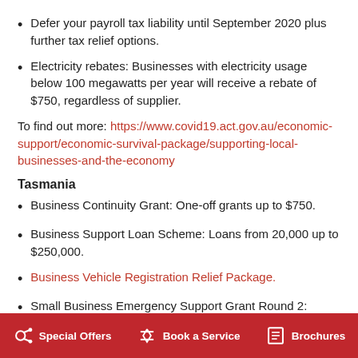Defer your payroll tax liability until September 2020 plus further tax relief options.
Electricity rebates: Businesses with electricity usage below 100 megawatts per year will receive a rebate of $750, regardless of supplier.
To find out more: https://www.covid19.act.gov.au/economic-support/economic-survival-package/supporting-local-businesses-and-the-economy
Tasmania
Business Continuity Grant: One-off grants up to $750.
Business Support Loan Scheme: Loans from 20,000 up to $250,000.
Business Vehicle Registration Relief Package.
Small Business Emergency Support Grant Round 2: Grants of $2,500.
Special Offers   Book a Service   Brochures